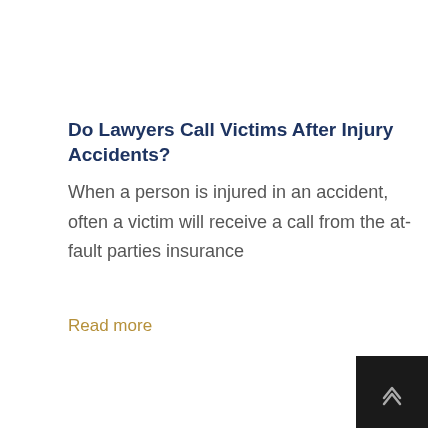Do Lawyers Call Victims After Injury Accidents?
When a person is injured in an accident, often a victim will receive a call from the at-fault parties insurance
Read more